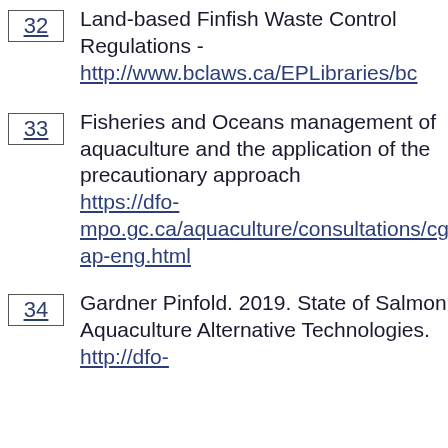32 Land-based Finfish Waste Control Regulations - http://www.bclaws.ca/EPLibraries/bc
33 Fisheries and Oceans management of aquaculture and the application of the precautionary approach https://dfo-mpo.gc.ca/aquaculture/consultations/cgra/pa-ap-eng.html
34 Gardner Pinfold. 2019. State of Salmon Aquaculture Alternative Technologies. http://dfo-